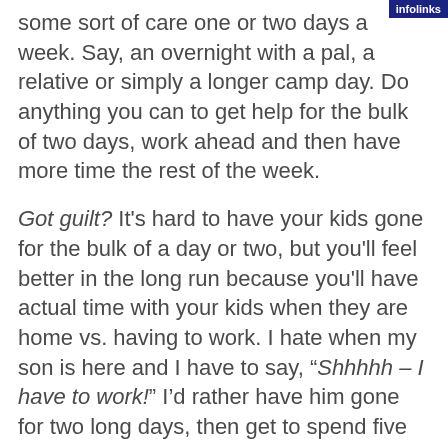[Figure (logo): infolinks badge/logo in top right corner, dark blue background with white text]
some sort of care one or two days a week. Say, an overnight with a pal, a relative or simply a longer camp day. Do anything you can to get help for the bulk of two days, work ahead and then have more time the rest of the week.
Got guilt? It's hard to have your kids gone for the bulk of a day or two, but you'll feel better in the long run because you'll have actual time with your kids when they are home vs. having to work. I hate when my son is here and I have to say, “Shhhhh – I have to work!” I’d rather have him gone for two long days, then get to spend five quality days with him. Actually, kids get this. I’m honest with Cedar about the schedule and he gets that if I don’t get two long days of work in, he’ll not get as much quality time with me on the other days.